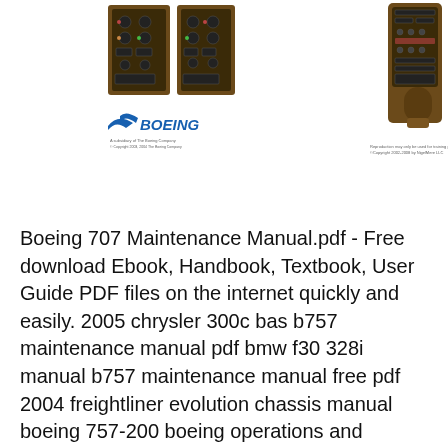[Figure (illustration): Boeing 777-200 cockpit panels and aircraft side-view illustration with Boeing logo]
Boeing 707 Maintenance Manual.pdf - Free download Ebook, Handbook, Textbook, User Guide PDF files on the internet quickly and easily. 2005 chrysler 300c bas b757 maintenance manual pdf bmw f30 328i manual b757 maintenance manual free pdf 2004 freightliner evolution chassis manual boeing 757-200 boeing operations and training dvr4wm manual rb211 training maintenance manual - manuals online pdf google desktop accessories manual